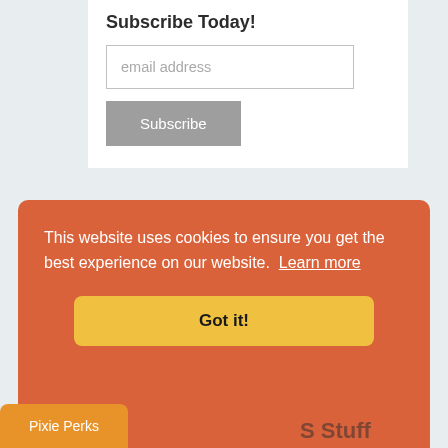Subscribe Today!
email address
Subscribe
Yes - I want the Liberty Jane Co. Newsletter!
Pixie Faire Info
About Us
Pixie Faire Story
Sew Powerful Purse
Join Our ...
DMCA Policy
This website uses cookies to ensure you get the best experience on our website. Learn more
Got it!
Pixie Perks
S Stuff